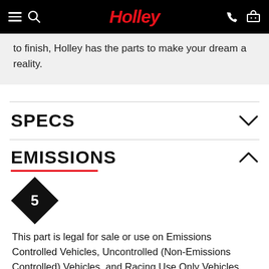Holley
to finish, Holley has the parts to make your dream a reality.
SPECS
EMISSIONS
[Figure (other): Diamond-shaped black badge with number 5 in white]
This part is legal for sale or use on Emissions Controlled Vehicles, Uncontrolled (Non-Emissions Controlled) Vehicles, and Racing Use Only Vehicles because it does not affect vehicle emissions and is not street use only.